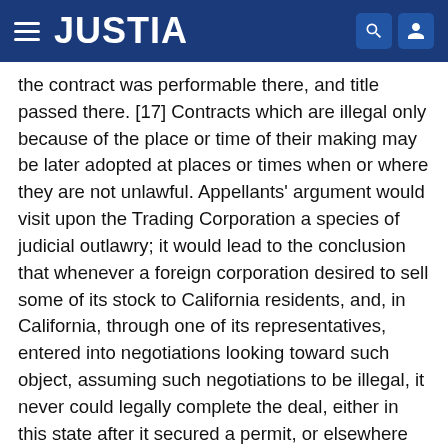JUSTIA
the contract was performable there, and title passed there. [17] Contracts which are illegal only because of the place or time of their making may be later adopted at places or times when or where they are not unlawful. Appellants' argument would visit upon the Trading Corporation a species of judicial outlawry; it would lead to the conclusion that whenever a foreign corporation desired to sell some of its stock to California residents, and, in California, through one of its representatives, entered into negotiations looking toward such object, assuming such negotiations to be illegal, it never could legally complete the deal, either in this state after it secured a permit, or elsewhere without one. The preliminary illegal transactions would, under this theory, so far affect the transaction, that it never could free itself from the taint of illegality. Such is not the law. If the offer of July 31 or August 1, 1929, was illegal, and if the